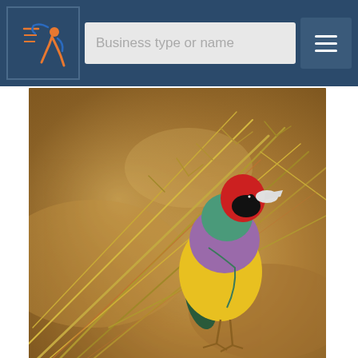[Figure (screenshot): Website header bar with logo (colorful figure icon on dark blue background), search input field with placeholder 'Business type or name', and hamburger menu button on the right]
[Figure (photo): A colorful Gouldian finch bird perched on dried grass/wheat stalks. The bird has a red head, blue-green neck, purple/mauve breast, and bright yellow belly. Brown blurred background.]
Tanya Plibersek urged to save Gouldian finches from NT defence development
[Figure (screenshot): 5am NEWS banner - red rectangle with '5am' text, white 'NEWS' text, compass/clock graphic, text 'LOCAL & INTERNATIONAL' and green italic text 'Displayed on over 500 websites', bottom shows partial 'BUSINESS' text]